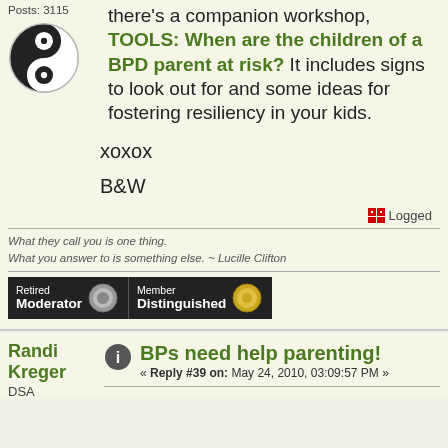Posts: 3115
there's a companion workshop, TOOLS: When are the children of a BPD parent at risk? It includes signs to look out for and some ideas for fostering resiliency in your kids.
xoxox
B&W
Logged
What they call you is one thing.
What you answer to is something else. ~ Lucille Clifton
[Figure (infographic): Retired Moderator and Member Distinguished badges]
Randi Kreger DSA
BPs need help parenting!
« Reply #39 on: May 24, 2010, 03:09:57 PM »